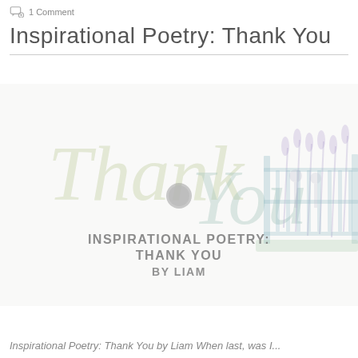1 Comment
Inspirational Poetry: Thank You
[Figure (illustration): A decorative card image with faint cursive 'Thank You' text in pale yellow-green script across the center, overlaid with a faint pastel watercolor illustration of a garden gate with flowers and plants on the right side. In the center-lower area, bold gray uppercase text reads 'INSPIRATIONAL POETRY: THANK YOU BY LIAM'. A small circular gray button or embellishment appears near the center of the card.]
Inspirational Poetry: Thank You by Liam When last, was I...